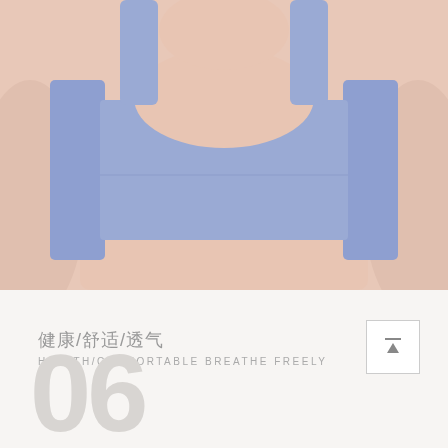[Figure (photo): Back view of a person wearing a light purple/periwinkle sports bra or bralette, showing the back strap design with a scoop back. Skin tones visible around the garment.]
健康/舒适/透气
HEALTH/COMFORTABLE BREATHE FREELY
06